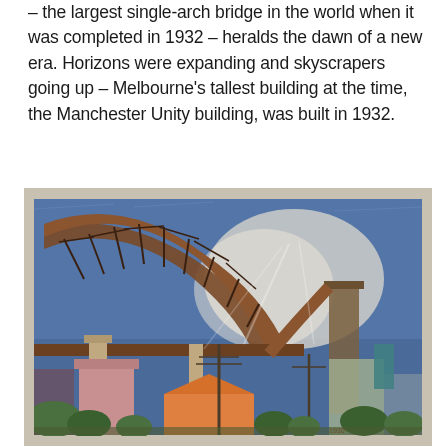– the largest single-arch bridge in the world when it was completed in 1932 – heralds the dawn of a new era. Horizons were expanding and skyscrapers going up – Melbourne's tallest building at the time, the Manchester Unity building, was built in 1932.
[Figure (photo): A framed painting depicting an early 20th-century scene with a large single-arch bridge (Sydney Harbour Bridge under construction) dominating the upper portion of the composition, with buildings, telegraph poles, and green foliage in the foreground. The painting is displayed in a light-coloured frame against a dark background.]